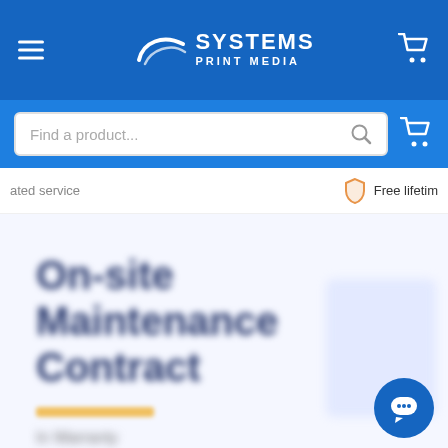SYSTEMS PRINT MEDIA
Find a product...
ated service   Free lifetim
On-site Maintenance Contract
[Figure (other): Orange underline bar beneath product title]
blurred subtext below product title